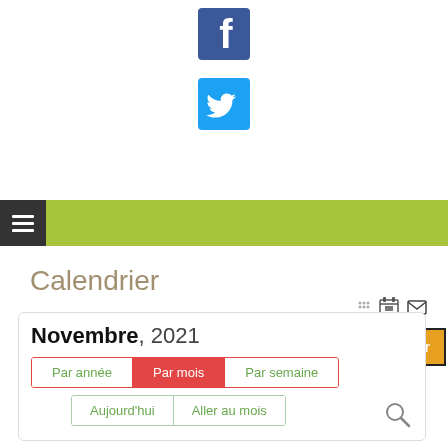[Figure (logo): Facebook logo icon - blue square with white 'f' letter]
[Figure (logo): Twitter logo icon - blue square with white bird]
Rechercher (search bar with button)
[Figure (screenshot): Green navigation bar with hamburger menu icon]
Calendrier
[Figure (screenshot): Calendar widget showing Novembre, 2021 with navigation buttons: Par année, Par mois (active/red), Par semaine, Aujourd'hui, Aller au mois, and a search magnifier icon]